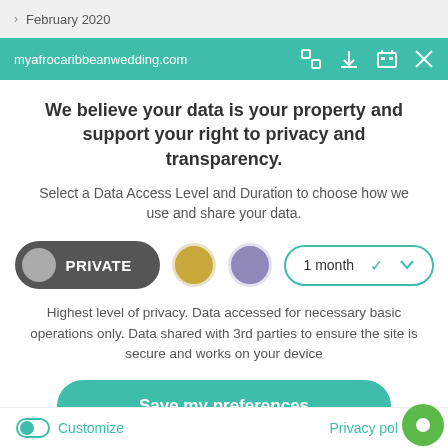> February 2020
myafrocaribbeanwedding.com
We believe your data is your property and support your right to privacy and transparency.
Select a Data Access Level and Duration to choose how we use and share your data.
[Figure (infographic): Privacy controls row: PRIVATE button (dark grey pill with grey circle), gold circle, purple circle, and 1 month dropdown]
Highest level of privacy. Data accessed for necessary basic operations only. Data shared with 3rd parties to ensure the site is secure and works on your device
Save my preferences
Customize
Privacy pol